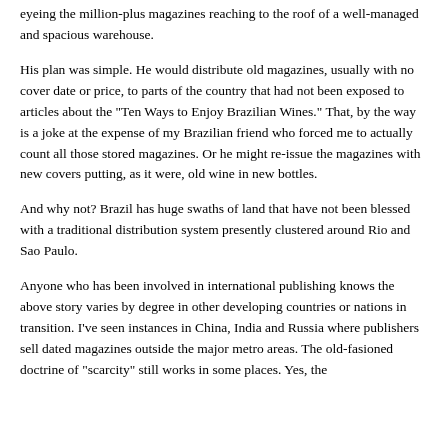eyeing the million-plus magazines reaching to the roof of a well-managed and spacious warehouse.
His plan was simple. He would distribute old magazines, usually with no cover date or price, to parts of the country that had not been exposed to articles about the "Ten Ways to Enjoy Brazilian Wines." That, by the way is a joke at the expense of my Brazilian friend who forced me to actually count all those stored magazines. Or he might re-issue the magazines with new covers putting, as it were, old wine in new bottles.
And why not? Brazil has huge swaths of land that have not been blessed with a traditional distribution system presently clustered around Rio and Sao Paulo.
Anyone who has been involved in international publishing knows the above story varies by degree in other developing countries or nations in transition. I've seen instances in China, India and Russia where publishers sell dated magazines outside the major metro areas. The old-fasioned doctrine of "scarcity" still works in some places. Yes, the